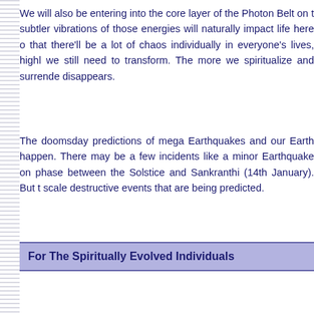We will also be entering into the core layer of the Photon Belt on t subtler vibrations of those energies will naturally impact life here o that there'll be a lot of chaos individually in everyone's lives, highl we still need to transform. The more we spiritualize and surrende disappears.
The doomsday predictions of mega Earthquakes and our Earth happen. There may be a few incidents like a minor Earthquake on phase between the Solstice and Sankranthi (14th January). But t scale destructive events that are being predicted.
For The Spiritually Evolved Individuals
All those who have worked on their inner purity and spiritualized the to connect to Light and manifest it in their living. More of their inne from now on.
It will also become easy to overcome the earlier ways of orthodoxy a life based on spiritual values. These individuals will also be able to